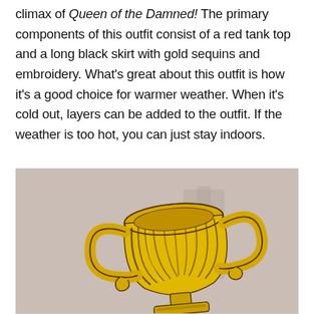climax of Queen of the Damned! The primary components of this outfit consist of a red tank top and a long black skirt with gold sequins and embroidery. What's great about this outfit is how it's a good choice for warmer weather. When it's cold out, layers can be added to the outfit. If the weather is too hot, you can just stay indoors.
[Figure (illustration): Illustration of a golden trophy cup with two handles, rendered in a bold graphic engraving style with dark line shading. The trophy appears tilted slightly. The background is a muted brownish-grey.]